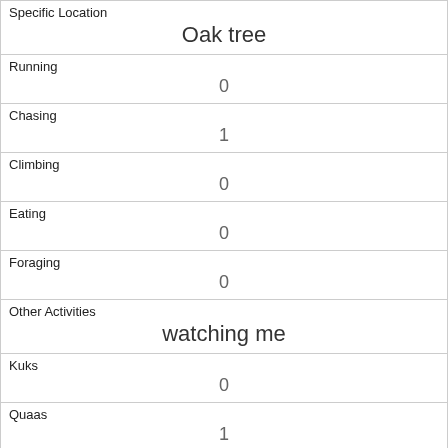| Specific Location | Oak tree |
| Running | 0 |
| Chasing | 1 |
| Climbing | 0 |
| Eating | 0 |
| Foraging | 0 |
| Other Activities | watching me |
| Kuks | 0 |
| Quaas | 1 |
| Moans | 0 |